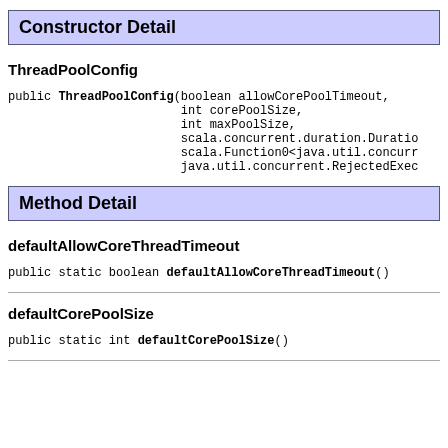Constructor Detail
ThreadPoolConfig
public ThreadPoolConfig(boolean allowCorePoolTimeout,
                        int corePoolSize,
                        int maxPoolSize,
                        scala.concurrent.duration.Duratio
                        scala.Function0<java.util.concurr
                        java.util.concurrent.RejectedExec
Method Detail
defaultAllowCoreThreadTimeout
public static boolean defaultAllowCoreThreadTimeout()
defaultCorePoolSize
public static int defaultCorePoolSize()